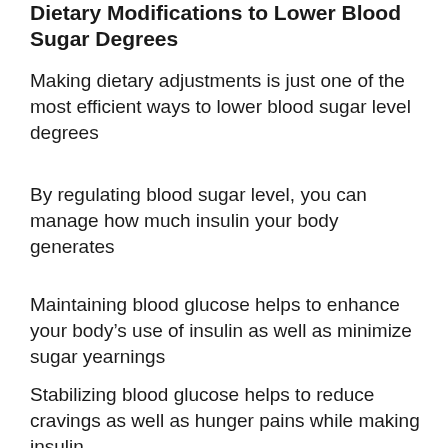Dietary Modifications to Lower Blood Sugar Degrees
Making dietary adjustments is just one of the most efficient ways to lower blood sugar level degrees
By regulating blood sugar level, you can manage how much insulin your body generates
Maintaining blood glucose helps to enhance your body’s use of insulin as well as minimize sugar yearnings
Stabilizing blood glucose helps to reduce cravings as well as hunger pains while making insulin